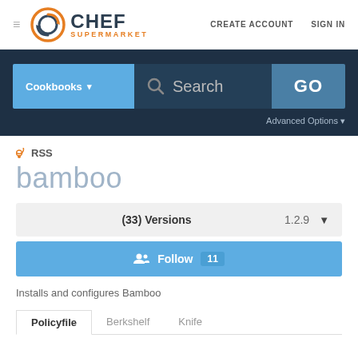[Figure (logo): Chef Supermarket logo with orange circular icon and 'CHEF SUPERMARKET' text]
CREATE ACCOUNT   SIGN IN
[Figure (screenshot): Search bar with Cookbooks dropdown, Search input field, and GO button on dark blue background]
Advanced Options
RSS
bamboo
(33) Versions   1.2.9
Follow  11
Installs and configures Bamboo
Policyfile   Berkshelf   Knife